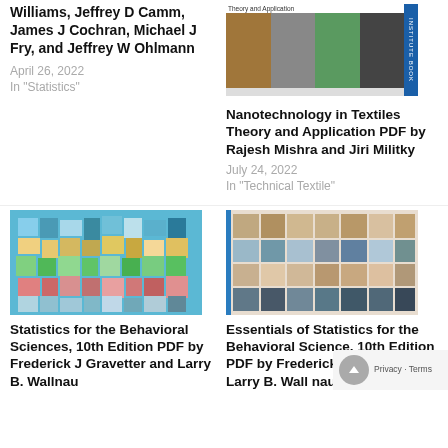Williams, Jeffrey D Camm, James J Cochran, Michael J Fry, and Jeffrey W Ohlmann
April 26, 2022
In "Statistics"
[Figure (photo): Book cover for Nanotechnology in Textiles Theory and Application, showing panels of fiber textures and water droplets]
Nanotechnology in Textiles Theory and Application PDF by Rajesh Mishra and Jiri Militky
July 24, 2022
In "Technical Textile"
[Figure (photo): Abstract book cover with colorful square mosaic pattern on blue background for Statistics for the Behavioral Sciences]
Statistics for the Behavioral Sciences, 10th Edition PDF by Frederick J Gravetter and Larry B. Wallnau
[Figure (photo): Book cover with colorful tile mosaic pattern for Essentials of Statistics for the Behavioral Science]
Essentials of Statistics for the Behavioral Science, 10th Edition PDF by Frederick J Gravetter, Larry B. Wallnau, Lori Ann